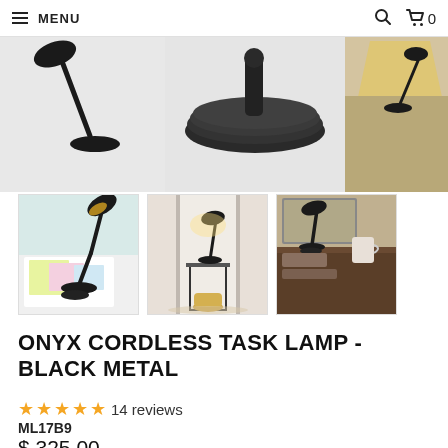≡ MENU  🔍  🛒 0
[Figure (photo): Main product photo area showing black cordless task lamp from multiple angles — full image, close-up of base, gold interior shade view, and lifestyle desk shot]
[Figure (photo): Thumbnail 1: Black task lamp on white kitchen counter with colorful art papers]
[Figure (photo): Thumbnail 2: Black task lamp on metal side table in hallway, illuminated]
[Figure (photo): Thumbnail 3: Black task lamp on dark wood desk with mug]
ONYX CORDLESS TASK LAMP - BLACK METAL
★★★★★ 14 reviews
ML17B9
$ 325.00